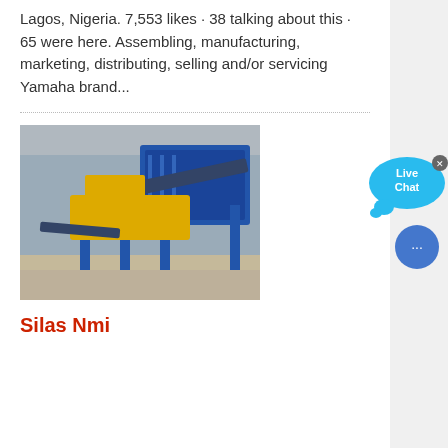Lagos, Nigeria. 7,553 likes · 38 talking about this · 65 were here. Assembling, manufacturing, marketing, distributing, selling and/or servicing Yamaha brand...
[Figure (photo): Industrial machinery/equipment with yellow and blue components including conveyors and crushing equipment at what appears to be a mining or quarry site]
Silas Nmi